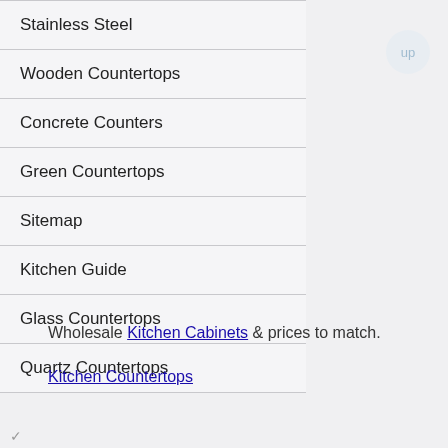Stainless Steel
Wooden Countertops
Concrete Counters
Green Countertops
Sitemap
Kitchen Guide
Glass Countertops
Quartz Countertops
Wholesale Kitchen Cabinets & prices to match.
Kitchen Countertops